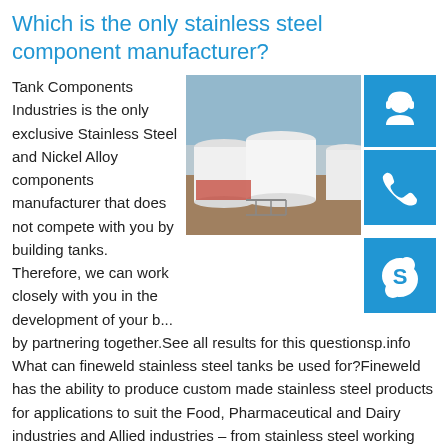Which is the only stainless steel component manufacturer?
[Figure (photo): Industrial storage tanks (white cylindrical tanks) at an outdoor facility]
[Figure (infographic): Blue square icon with white headset/customer support symbol]
[Figure (infographic): Blue square icon with white telephone symbol]
[Figure (infographic): Blue square icon with white Skype symbol]
Tank Components Industries is the only exclusive Stainless Steel and Nickel Alloy components manufacturer that does not compete with you by building tanks. Therefore, we can work closely with you in the development of your b... by partnering together.See all results for this questionsp.info What can fineweld stainless steel tanks be used for?Fineweld has the ability to produce custom made stainless steel products for applications to suit the Food, Pharmaceutical and Dairy industries and Allied industries – from stainless steel working platforms and integrated change plates, to inline powder blenders and process conveyor systems.See all results for this questionsp.info Who is the largest stainless steel supplier in Africa?In...